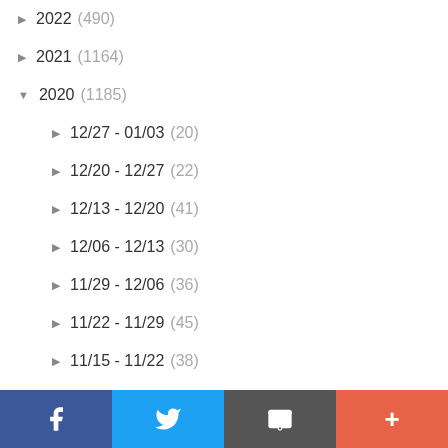▶ 2022 (490)
▶ 2021 (1164)
▼ 2020 (1185)
▶ 12/27 - 01/03 (20)
▶ 12/20 - 12/27 (22)
▶ 12/13 - 12/20 (41)
▶ 12/06 - 12/13 (30)
▶ 11/29 - 12/06 (36)
▶ 11/22 - 11/29 (45)
▶ 11/15 - 11/22 (38)
▶ 11/08 - 11/15 (11)
▶ 11/01 - 11/08 (20)
▶ 10/25 - 11/01 (30)